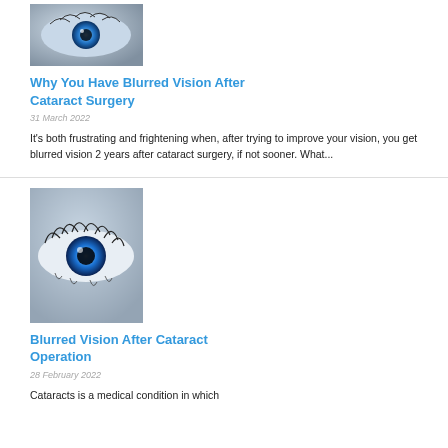[Figure (photo): Close-up photo of a human eye with blue iris]
Why You Have Blurred Vision After Cataract Surgery
31 March 2022
It's both frustrating and frightening when, after trying to improve your vision, you get blurred vision 2 years after cataract surgery, if not sooner. What...
[Figure (photo): Close-up photo of a human eye with blue iris and long lashes]
Blurred Vision After Cataract Operation
28 February 2022
Cataracts is a medical condition in which